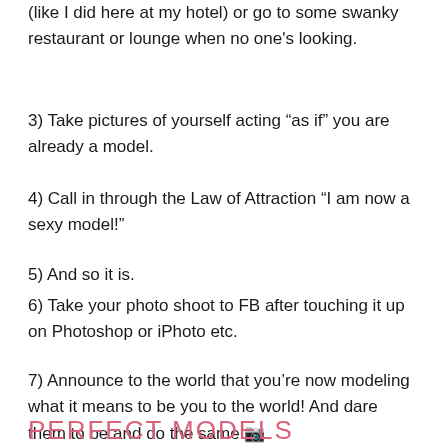(like I did here at my hotel) or go to some swanky restaurant or lounge when no one's looking.
3) Take pictures of yourself acting “as if” you are already a model.
4) Call in through the Law of Attraction “I am now a sexy model!”
5) And so it is.
6) Take your photo shoot to FB after touching it up on Photoshop or iPhoto etc.
7) Announce to the world that you’re now modeling what it means to be you to the world! And dare them to be and do the same 📷
PERFECT MODELS